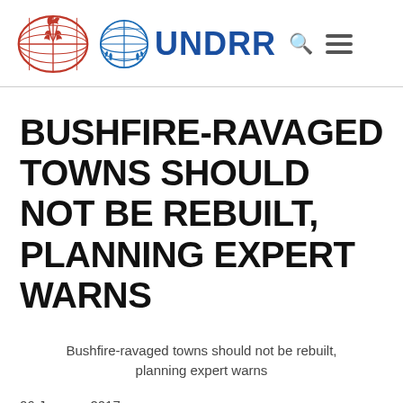[Figure (logo): UNDRR website header with ISDRR red globe/flame logo, UN blue globe logo, UNDRR text in blue, search icon, and hamburger menu icon]
BUSHFIRE-RAVAGED TOWNS SHOULD NOT BE REBUILT, PLANNING EXPERT WARNS
Bushfire-ravaged towns should not be rebuilt, planning expert warns
06 January 2017